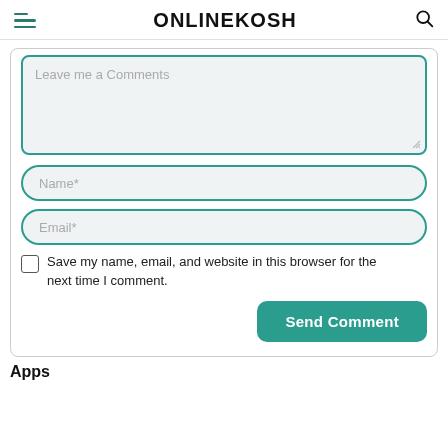ONLINEKOSH
[Figure (screenshot): Comment form with textarea placeholder 'Leave me a Comments', Name* input field, Email* input field, checkbox with label 'Save my name, email, and website in this browser for the next time I comment.', and a teal 'Send Comment' button]
Apps